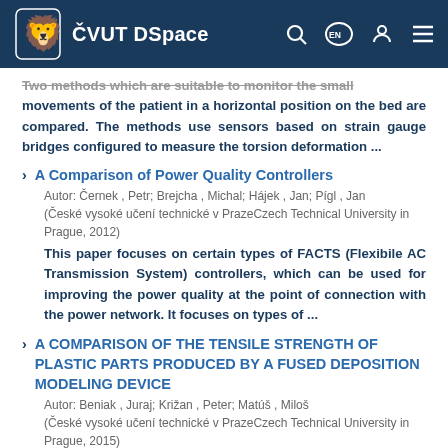ČVUT DSpace
Two methods which are suitable to monitor the small movements of the patient in a horizontal position on the bed are compared. The methods use sensors based on strain gauge bridges configured to measure the torsion deformation ...
A Comparison of Power Quality Controllers
Autor: Černek , Petr; Brejcha , Michal; Hájek , Jan; Pígl , Jan
(České vysoké učení technické v PrazeCzech Technical University in Prague, 2012)
This paper focuses on certain types of FACTS (Flexibile AC Transmission System) controllers, which can be used for improving the power quality at the point of connection with the power network. It focuses on types of ...
A COMPARISON OF THE TENSILE STRENGTH OF PLASTIC PARTS PRODUCED BY A FUSED DEPOSITION MODELING DEVICE
Autor: Beniak , Juraj; Križan , Peter; Matúš , Miloš
(České vysoké učení technické v PrazeCzech Technical University in Prague, 2015)
Rapid Prototyping systems are nowadays increasingly